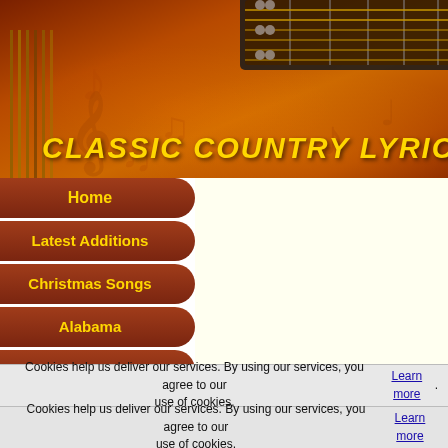[Figure (illustration): Classic Country Lyrics website header banner with orange/brown gradient background, guitar neck in top right corner, musical notes decorations, vertical piano/guitar strings on left, and yellow italic bold text reading CLASSIC COUNTRY LYRICS]
CLASSIC COUNTRY LYRICS
Home
Latest Additions
Christmas Songs
Alabama
Alan Jackson
Anne Murray
Bellamy Brothers
Bill Anderson
Billy Walker
Bob Wills
Billy Cline lyrics
These country classic song lyrics are t
Cookies help us deliver our services. By using our services, you agree to our use of cookies. Learn more.
Cookies help us deliver our services. By using our services, you agree to our use of cookies. Learn more.